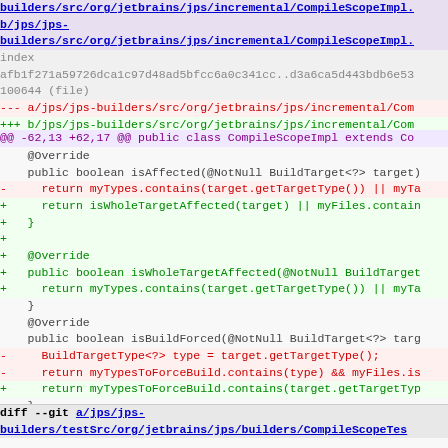diff --git a/jps/jps-builders/src/org/jetbrains/jps/incremental/CompileScopeImpl... b/jps/jps-builders/src/org/jetbrains/jps/incremental/CompileScopeImpl...
index
afb1f271a59726dca1c97d48ad5bfcc6a0c341cc..d3a6ca5d443bdb6e53...
100644 (file)
--- a/jps/jps-builders/src/org/jetbrains/jps/incremental/Com...
+++ b/jps/jps-builders/src/org/jetbrains/jps/incremental/Com...
@@ -62,13 +62,17 @@ public class CompileScopeImpl extends Co...
@Override
    public boolean isAffected(@NotNull BuildTarget<?> target)
-     return myTypes.contains(target.getTargetType()) || myTa...
+     return isWholeTargetAffected(target) || myFiles.contain...
+   }
+
+   @Override
+   public boolean isWholeTargetAffected(@NotNull BuildTarget...
+     return myTypes.contains(target.getTargetType()) || myTa...
    }

    @Override
    public boolean isBuildForced(@NotNull BuildTarget<?> targ...
-     BuildTargetType<?> type = target.getTargetType();
-     return myTypesToForceBuild.contains(type) && myFiles.is...
+     return myTypesToForceBuild.contains(target.getTargetTyp...
    }

    @Override
diff --git a/jps/jps-builders/testSrc/org/jetbrains/jps/builders/CompileScopeTes...